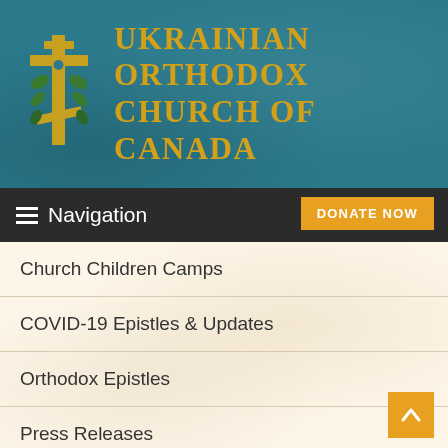[Figure (logo): Ukrainian Orthodox Church of Canada logo with gold cross and green vine decorations]
UKRAINIAN ORTHODOX CHURCH OF CANADA
Navigation  DONATE NOW
Church Children Camps
COVID-19 Epistles & Updates
Orthodox Epistles
Press Releases
Publications